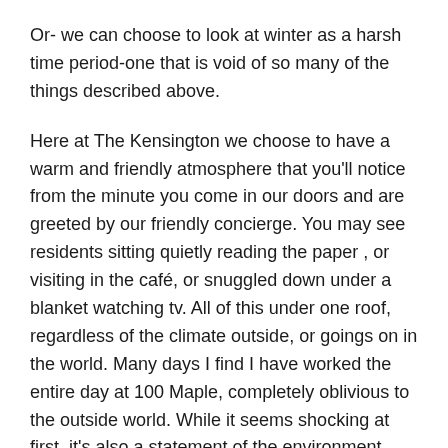Or- we can choose to look at winter as a harsh time period-one that is void of so many of the things described above.
Here at The Kensington we choose to have a warm and friendly atmosphere that you'll notice from the minute you come in our doors and are greeted by our friendly concierge. You may see residents sitting quietly reading the paper , or visiting in the café, or snuggled down under a blanket watching tv. All of this under one roof, regardless of the climate outside, or goings on in the world. Many days I find I have worked the entire day at 100 Maple, completely oblivious to the outside world. While it seems shocking at first, it's also a statement of the environment we've created here-